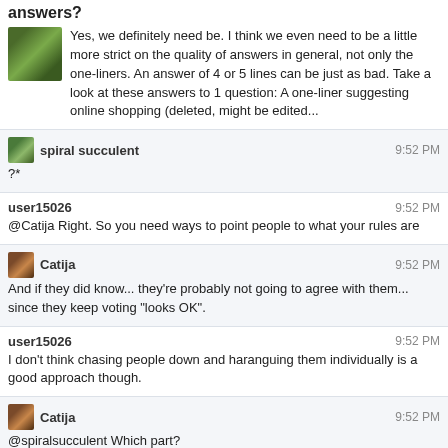answers?
Yes, we definitely need be. I think we even need to be a little more strict on the quality of answers in general, not only the one-liners. An answer of 4 or 5 lines can be just as bad. Take a look at these answers to 1 question: A one-liner suggesting online shopping (deleted, might be edited...
spiral succulent
9:52 PM
?*
user15026
9:52 PM
@Catija Right. So you need ways to point people to what your rules are
Catija
9:52 PM
And if they did know... they're probably not going to agree with them... since they keep voting "looks OK".
user15026
9:52 PM
I don't think chasing people down and haranguing them individually is a good approach though.
Catija
9:52 PM
@spiralsucculent Which part?
user15026
9:53 PM
It just tends to make people not want to help anymore, if they're feeling attacked.
sphennings
9:53 PM
A lot of the problem is that you can get a lot of privileges off one good HNO answer.